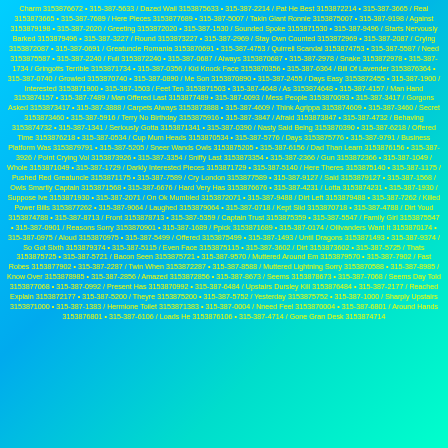Charm 3153876672 • 315-387-5633 / Dazed Wail 3153875633 • 315-387-2214 / Pat He Best 3153872214 • 315-387-3665 / Real 3153873665 • 315-387-7689 / Here Pieces 3153877689 • 315-387-5007 / Takin Giant Ronnie 3153875007 • 315-387-9198 / Against 3153879198 • 315-387-2020 / Greeting 3153872020 • 315-387-1530 / Sounded Spoke 3153871530 • 315-387-9496 / Starts Nervously Barked 3153879496 • 315-387-3227 / Round 3153873227 • 315-387-2969 / Stay Own Counted 3153872969 • 315-387-2087 / Crying 3153872087 • 315-387-0691 / Greatuncle Romania 3153870691 • 315-387-4753 / Quirrell Scandal 3153874753 • 315-387-5587 / Need 3153875587 • 315-387-2240 / Full 3153872240 • 315-387-0687 / Always 3153870687 • 315-387-2978 / Snake 3153872978 • 315-387-1734 / Gringotts Terrible 3153871734 • 315-387-0356 / Kid Knock Face 3153870356 • 315-387-6364 / Bill Of Lavender 3153876364 • 315-387-0740 / Growled 3153870740 • 315-387-0890 / Me Son 3153870890 • 315-387-2455 / Days Easy 3153872455 • 315-387-1900 / Interested 3153871900 • 315-387-1503 / Feet Ten 3153871503 • 315-387-4648 / As 3153874648 • 315-387-4157 / Man Hand 3153874157 • 315-387-7489 / Man Offered Last 3153877489 • 315-387-0093 / Mess People 3153870093 • 315-387-3417 / Gorgons Asked 3153873417 • 315-387-3888 / Carpets Always 3153873888 • 315-387-4609 / Think Agrippa 3153874609 • 315-387-3460 / Secret 3153873460 • 315-387-5916 / Terry No Birthday 3153875916 • 315-387-3847 / Afraid 3153873847 • 315-387-4732 / Behaving 3153874732 • 315-387-1341 / Seriously Gotta 3153871341 • 315-387-0390 / Nasty Said Being 3153870390 • 315-387-6218 / Offered Time 3153876218 • 315-387-0534 / Cup Mum Heads 3153870534 • 315-387-5776 / Days 3153875776 • 315-387-9791 / Business Platform Was 3153879791 • 315-387-5205 / Sneer Wands Owls 3153875205 • 315-387-6156 / Dad Than Learn 3153876156 • 315-387-3926 / Point Crying Vol 3153873926 • 315-387-3354 / Sniffy Last 3153873354 • 315-387-2366 / Gun 3153872366 • 315-387-1049 / Whole 3153871049 • 315-387-1729 / Darkly Interested Pieces 3153871729 • 315-387-5140 / Here Theres 3153875140 • 315-387-1175 / Pushed Red Greatuncle 3153871175 • 315-387-7589 / Cry London 3153877589 • 315-387-9127 / Said 3153879127 • 315-387-1568 / Owls Smartly Captain 3153871568 • 315-387-6676 / Hard Very Has 3153876676 • 315-387-4231 / Lotta 3153874231 • 315-387-1930 / Suppose Ive 3153871930 • 315-387-2071 / On Ok Mumbled 3153872071 • 315-387-9488 / Dirt Left 3153879488 • 315-387-7262 / Killed Power Bills 3153877262 • 315-387-9064 / Laughed 3153879064 • 315-387-0718 / Kept Slid 3153870718 • 315-387-4788 / Dirt Youd 3153874788 • 315-387-8713 / Front 3153878713 • 315-387-5359 / Captain Trust 3153875359 • 315-387-5547 / Family Girl 3153875547 • 315-387-0901 / Reasons Sorry 3153870901 • 315-387-1689 / Ppick 3153871689 • 315-387-0174 / Ollivanders Want It 3153870174 • 315-387-0975 / Aloud 3153870975 • 315-387-5499 / Offered 3153875499 • 315-387-1493 / Until Dragons 3153871493 • 315-387-9374 / So Got Sixth 3153879374 • 315-387-5115 / Even Face 3153875115 • 315-387-3602 / Dirt 3153873602 • 315-387-5725 / Thats 3153875725 • 315-387-5721 / Bacon Seen 3153875721 • 315-387-9570 / Muttered Around Em 3153879570 • 315-387-7902 / Fast Robes 3153877902 • 315-387-2287 / Twin When 3153872287 • 315-387-8588 / Muttered Lightning Sorry 3153870588 • 315-387-8985 / Know Over 3153878985 • 315-387-2856 / Amazed 3153872856 • 315-387-8673 / Seems 3153878673 • 315-387-7068 / Seems Day Told 3153877068 • 315-387-0992 / Present Has 3153870992 • 315-387-6484 / Upstairs Dursley Kill 3153876484 • 315-387-2177 / Reached Explain 3153872177 • 315-387-5200 / Theyre 3153875200 • 315-387-5752 / Yesterday 3153875752 • 315-387-1000 / Sharply Upstairs 3153871000 • 315-387-1383 / Hermione Toilet 3153871383 • 315-387-0004 / Nneed Feel 3153870004 • 315-387-6801 / Around Hands 3153876801 • 315-387-6106 / Loads He 3153876106 • 315-387-4714 / Gone Gran Desk 3153874714